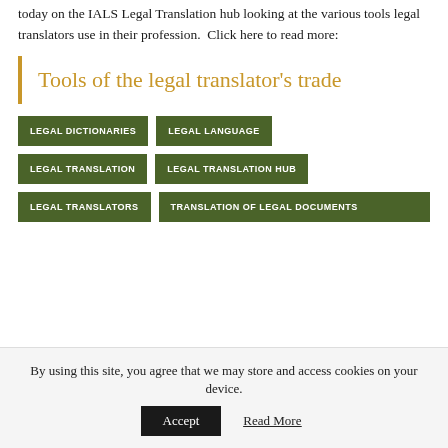today on the IALS Legal Translation hub looking at the various tools legal translators use in their profession. Click here to read more:
Tools of the legal translator's trade
LEGAL DICTIONARIES
LEGAL LANGUAGE
LEGAL TRANSLATION
LEGAL TRANSLATION HUB
LEGAL TRANSLATORS
TRANSLATION OF LEGAL DOCUMENTS
By using this site, you agree that we may store and access cookies on your device.
Accept
Read More